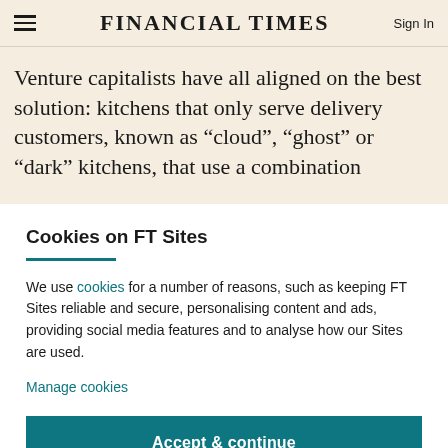FINANCIAL TIMES
Venture capitalists have all aligned on the best solution: kitchens that only serve delivery customers, known as “cloud”, “ghost” or “dark” kitchens, that use a combination
Cookies on FT Sites
We use cookies for a number of reasons, such as keeping FT Sites reliable and secure, personalising content and ads, providing social media features and to analyse how our Sites are used.
Manage cookies
Accept & continue